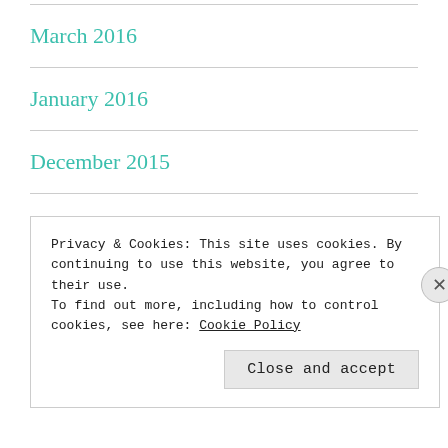March 2016
January 2016
December 2015
October 2015
September 2015
Privacy & Cookies: This site uses cookies. By continuing to use this website, you agree to their use.
To find out more, including how to control cookies, see here: Cookie Policy
Close and accept